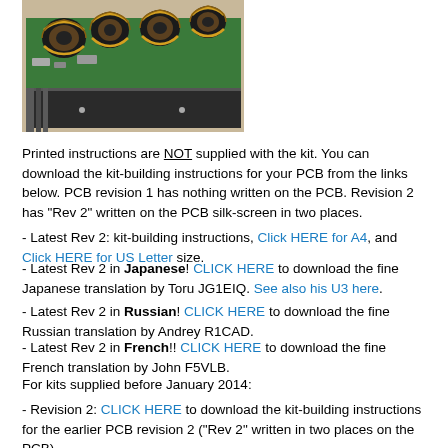[Figure (photo): Close-up photograph of a green PCB (printed circuit board) with large toroidal inductors and other components mounted on it.]
Printed instructions are NOT supplied with the kit. You can download the kit-building instructions for your PCB from the links below. PCB revision 1 has nothing written on the PCB. Revision 2 has "Rev 2" written on the PCB silk-screen in two places.
- Latest Rev 2: kit-building instructions, Click HERE for A4, and Click HERE for US Letter size.
- Latest Rev 2 in Japanese! CLICK HERE to download the fine Japanese translation by Toru JG1EIQ. See also his U3 here.
- Latest Rev 2 in Russian! CLICK HERE to download the fine Russian translation by Andrey R1CAD.
- Latest Rev 2 in French!! CLICK HERE to download the fine French translation by John F5VLB.
For kits supplied before January 2014:
- Revision 2: CLICK HERE to download the kit-building instructions for the earlier PCB revision 2 ("Rev 2" written in two places on the PCB).